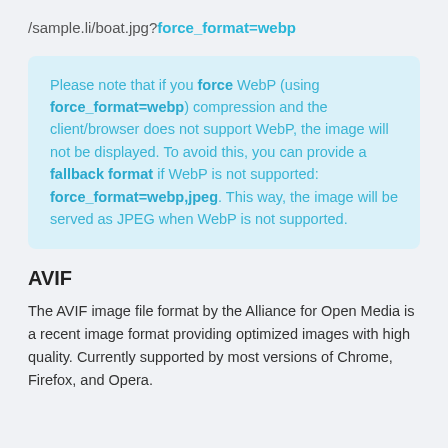/sample.li/boat.jpg?force_format=webp
Please note that if you force WebP (using force_format=webp) compression and the client/browser does not support WebP, the image will not be displayed. To avoid this, you can provide a fallback format if WebP is not supported: force_format=webp,jpeg. This way, the image will be served as JPEG when WebP is not supported.
AVIF
The AVIF image file format by the Alliance for Open Media is a recent image format providing optimized images with high quality. Currently supported by most versions of Chrome, Firefox, and Opera.